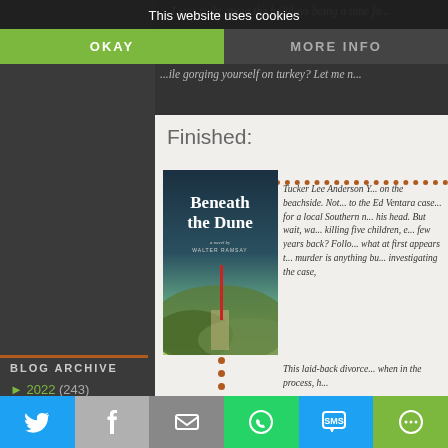This website uses cookies
OKAY
MORE INFO
... I was right about the holidays being a time fo... near started, but finished 2 new books, too! H... ...ile gorging yourself on turkey? Let me n...
Finished:
[Figure (photo): Book cover of 'Beneath the Dune' by Walter Ramsay, showing a beach scene with dunes and a red marker pole.]
Tucker Lee Anderson Y... on the beachside. Not... to the Ed Ventara case... for a local Southern n... his head. But wait, wa... killing five children, e... few years back? Follo... what at first appears t... murder is anything bu... investigating the case,
This laid-back divorce... when in the process, h...
BLOG ARCHIVE
► 2022 (243)